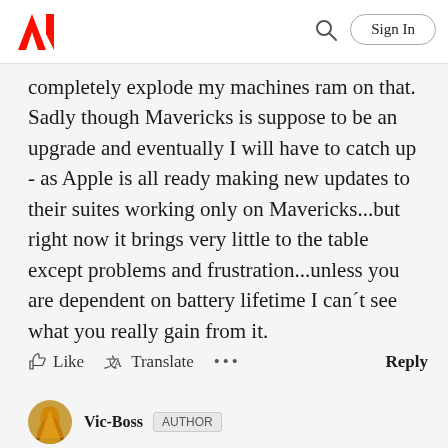Adobe | Sign In
completely explode my machines ram on that. Sadly though Mavericks is suppose to be an upgrade and eventually I will have to catch up - as Apple is all ready making new updates to their suites working only on Mavericks...but right now it brings very little to the table except problems and frustration...unless you are dependent on battery lifetime I can´t see what you really gain from it.
Like  Translate  ...  Reply
Vic-Boss  AUTHOR